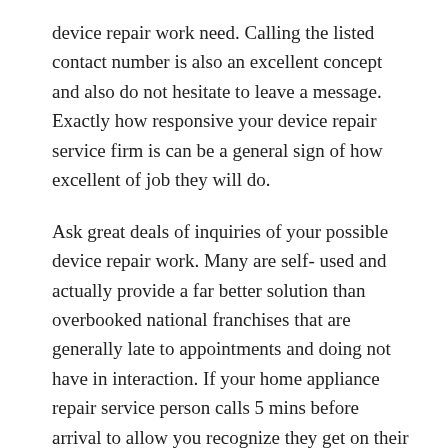device repair work need. Calling the listed contact number is also an excellent concept and also do not hesitate to leave a message. Exactly how responsive your device repair service firm is can be a general sign of how excellent of job they will do.
Ask great deals of inquiries of your possible device repair work. Many are self- used and actually provide a far better solution than overbooked national franchises that are generally late to appointments and doing not have in interaction. If your home appliance repair service person calls 5 mins before arrival to allow you recognize they get on their way but running a little late, think about that a considerate and also diligent company